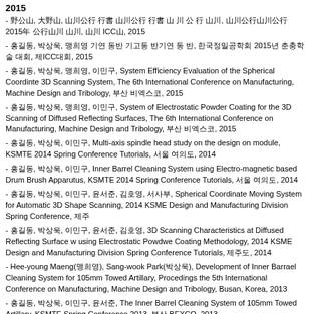2015
- [Korean], [Korean], [Korean] [Korean] [Korean] [Korean] [Korean] [Korean] [Korean] [Korean] [Korean] [Korean] [Korean] [Korean], [Korean][Korean][Korean][Korean][Korean] 2015[Korean] [Korean][Korean] [Korean], [Korean] ICC[Korean], 2015
- [Korean], [Korean], [Korean] [Korean] [Korean][Korean] [Korean][Korean] [Korean][Korean] [Korean] [Korean], [Korean][Korean][Korean][Korean][Korean] 2015[Korean] [Korean][Korean] [Korean], [Korean]ICC[Korean], 2015
- [Korean], [Korean], [Korean], [Korean], System Efficiency Evaluation of the Spherical Coordinte 3D Scanning System, The 6th International Conference on Manufacturing, Machine Design and Tribology, [Korean] [Korean][Korean], 2015
- [Korean], [Korean], [Korean], [Korean], System of Electrostatic Powder Coating for the 3D Scanning of Diffused Reflecting Surfaces, The 6th International Conference on Manufacturing, Machine Design and Tribology, [Korean] [Korean][Korean], 2015
- [Korean], [Korean], [Korean], Multi-axis spindle head study on the design on module, KSMTE 2014 Spring Conference Tutorials, [Korean] [Korean], 2014
- [Korean], [Korean], [Korean], Inner Barrel Cleaning System using Electro-magnetic based Drum Brush Apparutus, KSMTE 2014 Spring Conference Tutorials, [Korean] [Korean], 2014
- [Korean], [Korean], [Korean], [Korean], [Korean], [Korean], Spherical Coordinate Moving System for Automatic 3D Shape Scanning, 2014 KSME Design and Manufacturing Division Spring Conference, [Korean]
- [Korean], [Korean], [Korean], [Korean], [Korean], 3D Scanning Characteristics at Diffused Reflecting Surface w using Electrostatic Powdwe Coating Methodology, 2014 KSME Design and Manufacturing Division Spring Conference Tutorials, [Korean], 2014
- Hee-young Maeng([Korean]), Sang-wook Park([Korean]), Development of Inner Barrael Cleaning System for 105mm Towed Artillary, Procedings the 5th International Conference on Manufacturing, Machine Design and Tribology, Busan, Korea, 2013
- [Korean], [Korean], [Korean], [Korean], The Inner Barrel Cleaning System of 105mm Towed Artillary, KSMTE Spring Conference 2013, [Korean] BEXCO, 2013
- [Korean], [Korean], [Korean], [Korean], Dressing Conditions for the CBN Grinding of Tapered Grooves at Wire Materials, KSMTE Spring Conference 2013, [Korean] BEXCO, 2013